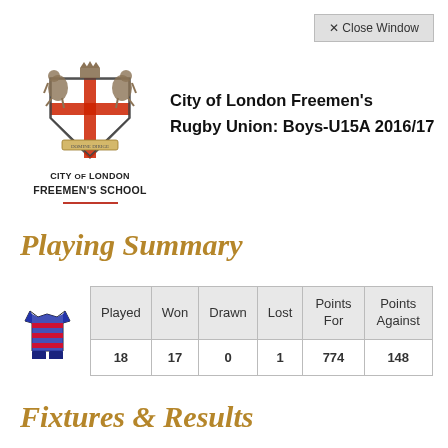[Figure (logo): City of London Freemen's School coat of arms logo with shield, supporters, and school name text below]
City of London Freemen's Rugby Union: Boys-U15A 2016/17
Playing Summary
| Played | Won | Drawn | Lost | Points For | Points Against |
| --- | --- | --- | --- | --- | --- |
| 18 | 17 | 0 | 1 | 774 | 148 |
Fixtures & Results